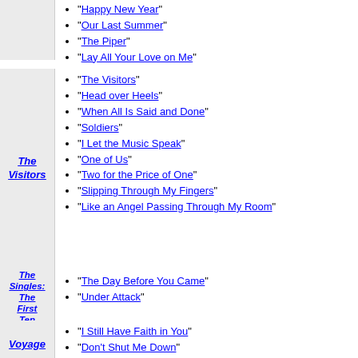"Happy New Year"
"Our Last Summer"
"The Piper"
"Lay All Your Love on Me"
The Visitors
"The Visitors"
"Head over Heels"
"When All Is Said and Done"
"Soldiers"
"I Let the Music Speak"
"One of Us"
"Two for the Price of One"
"Slipping Through My Fingers"
"Like an Angel Passing Through My Room"
The Singles: The First Ten Years
"The Day Before You Came"
"Under Attack"
Voyage
"I Still Have Faith in You"
"Don't Shut Me Down"
"Just a Notion"
"Little Things"